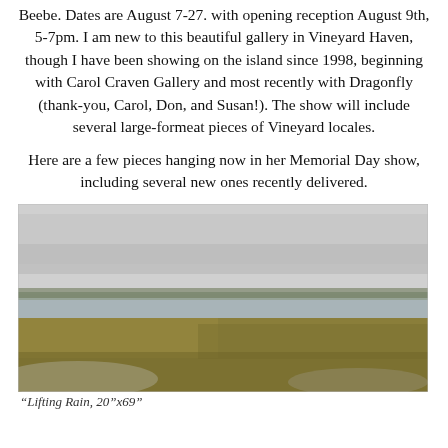Beebe. Dates are August 7-27. with opening reception August 9th, 5-7pm. I am new to this beautiful gallery in Vineyard Haven, though I have been showing on the island since 1998, beginning with Carol Craven Gallery and most recently with Dragonfly (thank-you, Carol, Don, and Susan!). The show will include several large-formeat pieces of Vineyard locales.
Here are a few pieces hanging now in her Memorial Day show, including several new ones recently delivered.
[Figure (photo): Landscape painting/photograph of a coastal marsh scene with overcast sky, flat grassy wetlands, water, and distant shoreline.]
“Lifting Rain, 20”x69”